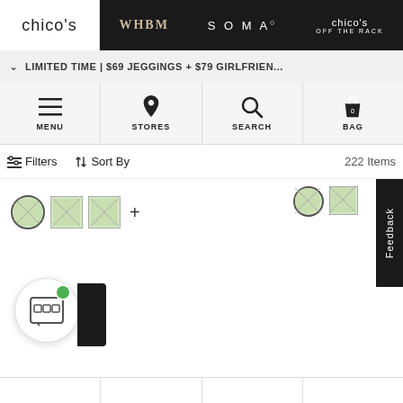chico's | WHBM | SOMA | chico's OFF THE RACK
LIMITED TIME | $69 JEGGINGS + $79 GIRLFRIEN...
MENU | STORES | SEARCH | BAG (0)
Filters  Sort By  222 Items
[Figure (screenshot): Color swatch selectors with broken image thumbnails and a plus sign for more options]
Feedback
[Figure (illustration): Chat/store widget icon with green online indicator dot]